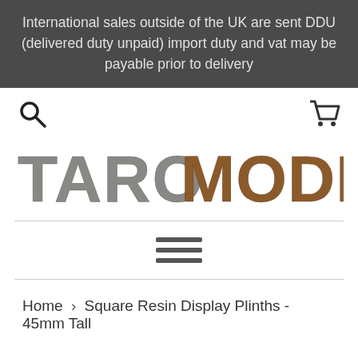International sales outside of the UK are sent DDU (delivered duty unpaid) import duty and vat may be payable prior to delivery
[Figure (screenshot): Navigation icons: search magnifying glass on the left, shopping cart on the right]
[Figure (logo): TARO MODELMAKER logo — TARO in grey stone texture, MODELMAKER in brown rusty texture]
[Figure (other): Hamburger menu icon with three horizontal bars]
Home › Square Resin Display Plinths - 45mm Tall